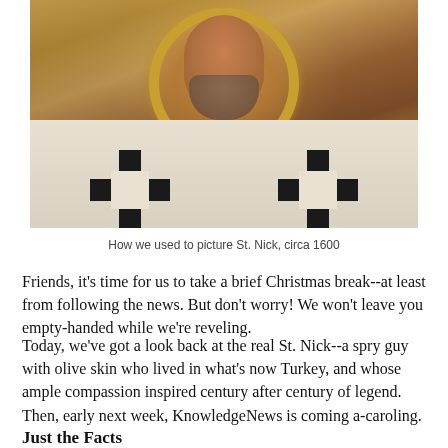[Figure (illustration): Byzantine-style icon painting of St. Nicholas (circa 1600), showing a bearded bishop with olive skin, a gold halo, and ornate white vestments decorated with black cross patterns.]
How we used to picture St. Nick, circa 1600
Friends, it's time for us to take a brief Christmas break--at least from following the news. But don't worry! We won't leave you empty-handed while we're reveling.
Today, we've got a look back at the real St. Nick--a spry guy with olive skin who lived in what's now Turkey, and whose ample compassion inspired century after century of legend. Then, early next week, KnowledgeNews is coming a-caroling.
Just the Facts